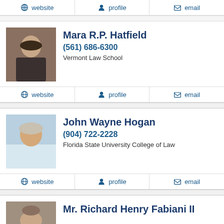website  profile  email
[Figure (photo): Portrait photo of Mara R.P. Hatfield]
Mara R.P. Hatfield
(561) 686-6300
Vermont Law School
website  profile  email
[Figure (photo): Portrait photo of John Wayne Hogan]
John Wayne Hogan
(904) 722-2228
Florida State University College of Law
website  profile  email
[Figure (photo): Portrait photo of Mr. Richard Henry Fabiani II]
Mr. Richard Henry Fabiani II